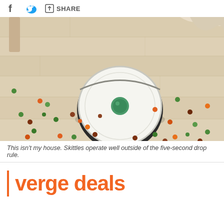f [twitter icon] SHARE
[Figure (photo): A white round robot vacuum cleaner on a light wood floor surrounded by scattered colorful Skittles candies. A wooden chair leg and fabric are visible in the background.]
This isn't my house. Skittles operate well outside of the five-second drop rule.
verge deals